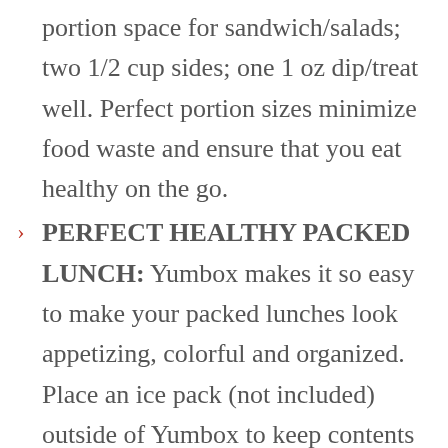portion space for sandwich/salads; two 1/2 cup sides; one 1 oz dip/treat well. Perfect portion sizes minimize food waste and ensure that you eat healthy on the go.
PERFECT HEALTHY PACKED LUNCH: Yumbox makes it so easy to make your packed lunches look appetizing, colorful and organized. Place an ice pack (not included) outside of Yumbox to keep contents fresh. Both Yumbox and ice pack are intended to go into an insulated bag (not included).
EASY CLEANING: Dishwasher safe. Top rack only. Hand washing also perfectly fine/